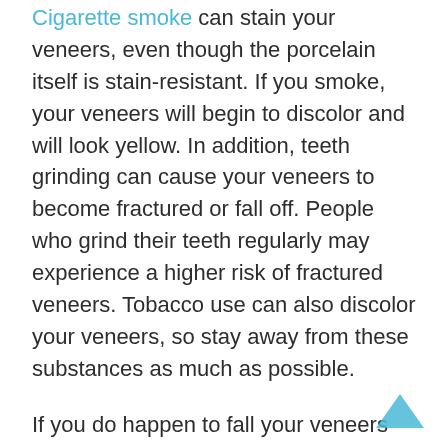Cigarette smoke can stain your veneers, even though the porcelain itself is stain-resistant. If you smoke, your veneers will begin to discolor and will look yellow. In addition, teeth grinding can cause your veneers to become fractured or fall off. People who grind their teeth regularly may experience a higher risk of fractured veneers. Tobacco use can also discolor your veneers, so stay away from these substances as much as possible.
If you do happen to fall your veneers off, do not try to fix them yourself. This can further damage the veneers. Instead, gently remove the broken pieces and store them in a sturdy container. Next, call your dentist immediately for a consultation. By the time you know the reason why your veneers have broken, you may be able to come up with a solution. And once you know what has caused your veneers to fall off, you will be able to make an informed decision regarding the next